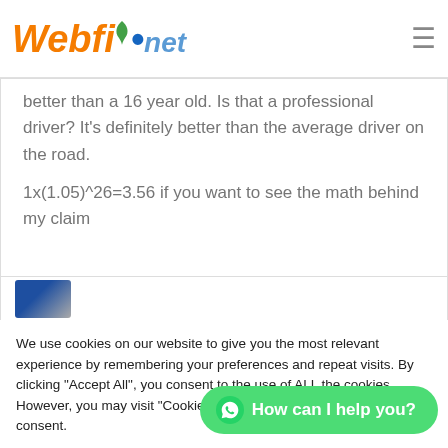Webfio.net
better than a 16 year old. Is that a professional driver? It's definitely better than the average driver on the road.

1x(1.05)^26=3.56 if you want to see the math behind my claim
[Figure (photo): Partially visible user avatar/profile image thumbnail in blue tones]
We use cookies on our website to give you the most relevant experience by remembering your preferences and repeat visits. By clicking "Accept All", you consent to the use of ALL the cookies. However, you may visit "Cookie Settings" to provide a controlled consent.
Cookie Settings   Accept   How can I help you?